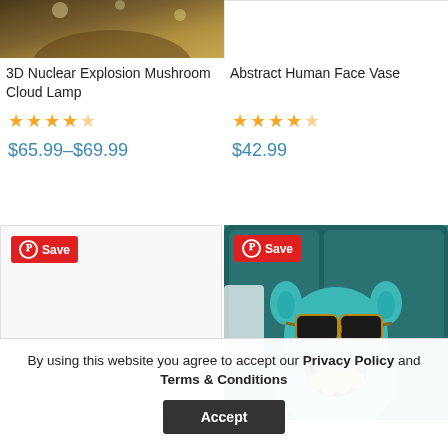[Figure (photo): Top portion of a lamp product photo with warm golden/brown tones]
3D Nuclear Explosion Mushroom Cloud Lamp
★★★★★
$65.99–$69.99
Abstract Human Face Vase
★★★★★
$42.99
[Figure (photo): Empty product card placeholder with Save Pinterest badge]
[Figure (photo): Teal monster/creature figurine wearing sunglasses with gold chocolates in open mouth, sitting on teal sofa, with Save Pinterest badge]
By using this website you agree to accept our Privacy Policy and Terms & Conditions
Accept